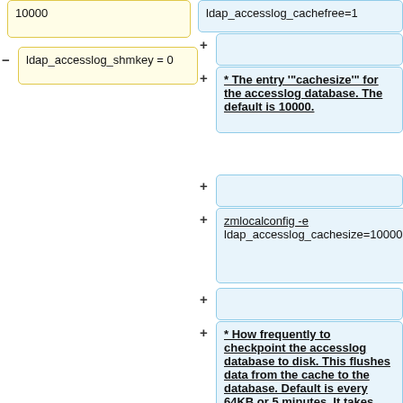10000
− ldap_accesslog_shmkey = 0
ldap_accesslog_cachefree=1
+
+ * The entry '''cachesize''' for the accesslog database. The default is 10000.
+
+ zmlocalconfig -e
ldap_accesslog_cachesize=10000
+
+ * How frequently to checkpoint the accesslog database to disk.  This flushes data from the cache to the database.  Default is every 64KB or 5 minutes.  It takes